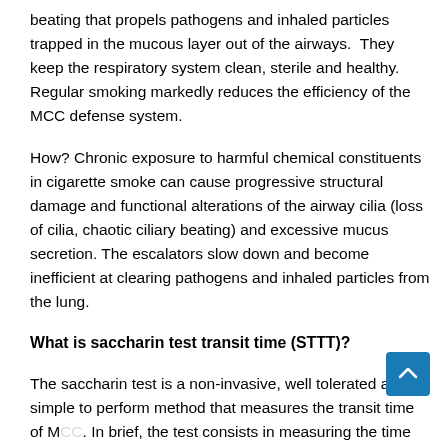beating that propels pathogens and inhaled particles trapped in the mucous layer out of the airways.  They keep the respiratory system clean, sterile and healthy. Regular smoking markedly reduces the efficiency of the MCC defense system.
How? Chronic exposure to harmful chemical constituents in cigarette smoke can cause progressive structural damage and functional alterations of the airway cilia (loss of cilia, chaotic ciliary beating) and excessive mucus secretion. The escalators slow down and become inefficient at clearing pathogens and inhaled particles from the lung.
What is saccharin test transit time (STTT)?
The saccharin test is a non-invasive, well tolerated and simple to perform method that measures the transit time of MCC. In brief, the test consists in measuring the time that takes for an